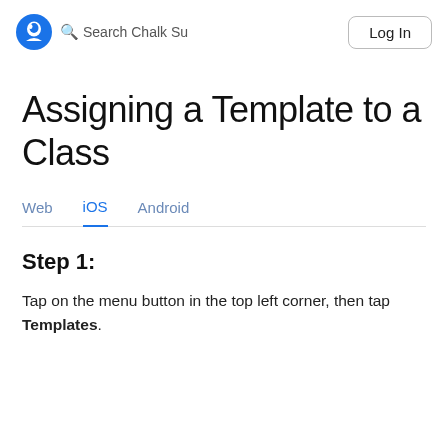Search Chalk Su | Log In
Assigning a Template to a Class
Web  iOS  Android
Step 1:
Tap on the menu button in the top left corner, then tap Templates.